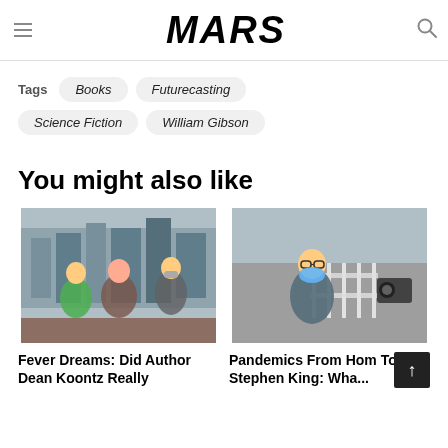MARS
Tags  Books  Futurecasting  Science Fiction  William Gibson
You might also like
[Figure (photo): Scene with people in masks outdoors, urban background with buildings]
Fever Dreams: Did Author Dean Koontz Really
[Figure (photo): Man wearing blue face mask outdoors]
Pandemics From Hom To Stephen King: Wha...